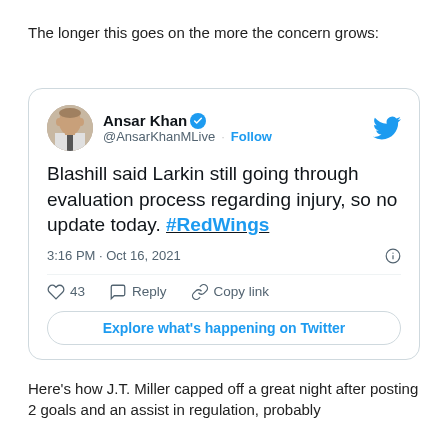The longer this goes on the more the concern grows:
[Figure (screenshot): Embedded tweet from Ansar Khan (@AnsarKhanMLive) with Follow button and Twitter bird logo. Tweet text: 'Blashill said Larkin still going through evaluation process regarding injury, so no update today. #RedWings'. Posted 3:16 PM · Oct 16, 2021. 43 likes. Actions: Reply, Copy link. Button: Explore what's happening on Twitter.]
Here's how J.T. Miller capped off a great night after posting 2 goals and an assist in regulation, probably